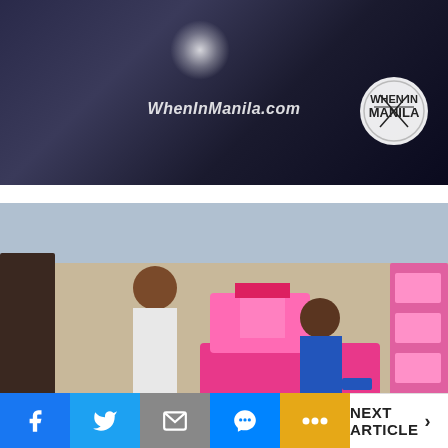[Figure (photo): Dark reflective floor top banner with WhenInManila.com watermark text and circular logo in top right corner]
[Figure (photo): Children browsing pink toy displays in a toy store. A girl in white top and grey jeans and a boy in blue shirt are looking at Barbie playsets and doll boxes on shelves.]
NEXT ARTICLE >